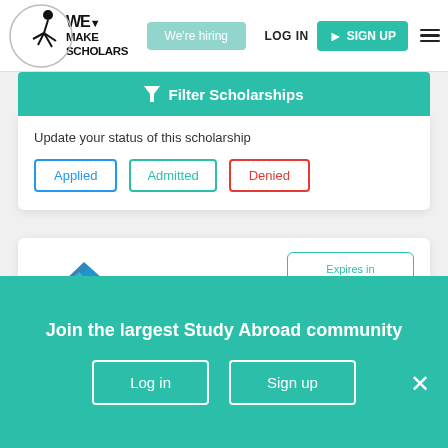[Figure (logo): We Make Scholars logo with circle and figure]
We're hiring
LOG IN
SIGN UP
Filter Scholarships
Update your status of this scholarship
Applied
Admitted
Denied
[Figure (logo): VLIZ logo - blue layered shapes]
Expires in
124 days
Dr Edouard Delcroix Prize 2022
Join the largest Study Abroad community
Log in
Sign up